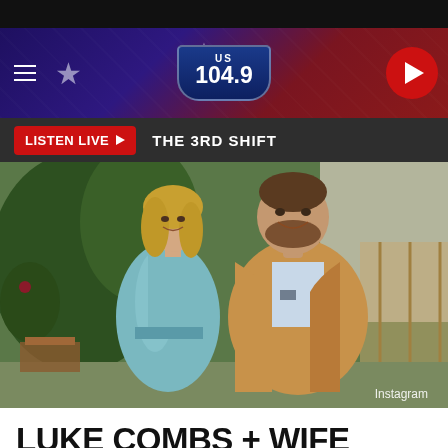[Figure (screenshot): US 104.9 radio station website header banner with American flag motif, stars, hamburger menu icon, US 104.9 shield logo, and red play button circle on right]
LISTEN LIVE ▶  THE 3RD SHIFT
[Figure (photo): Photo of Luke Combs and wife Nicole posing together outdoors. Nicole wears a blue/teal satin dress, Luke wears a tan/brown blazer. Garden with plants in background. Instagram credit in bottom right.]
LUKE COMBS + WIFE NICOLE